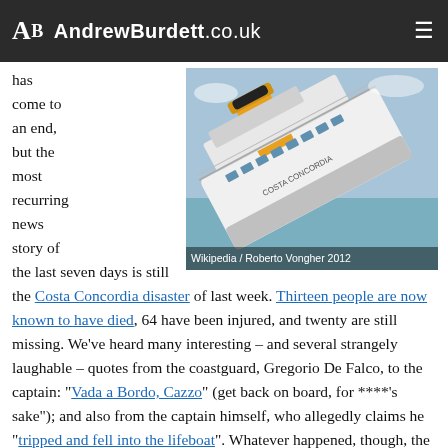AndrewBurdett.co.uk
[Figure (photo): The Costa Concordia cruise ship capsized on its side in the sea, with its yellow funnel visible. Caption reads: Wikipedia / Roberto Vongher 2012]
has come to an end, but the most recurring news story of the last seven days is still the Costa Concordia disaster of last week. Thirteen people are now known to have died, 64 have been injured, and twenty are still missing. We've heard many interesting – and several strangely laughable – quotes from the coastguard, Gregorio De Falco, to the captain: "Vada a Bordo, Cazzo" (get back on board, for ****'s sake"); and also from the captain himself, who allegedly claims he "tripped and fell into the lifeboat". Whatever happened, though, the investigation into the accident is only just beginning.